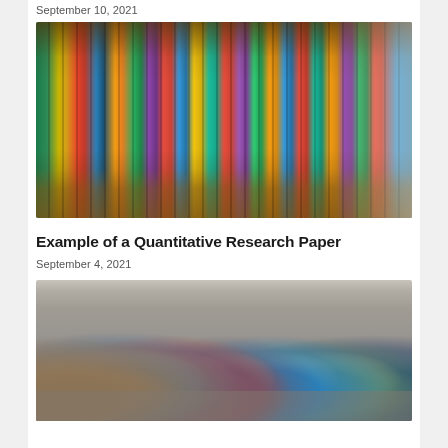September 10, 2021
[Figure (photo): Colorful books lined up on curved library shelves, viewed from a close angle showing spines of many different colored books on wooden shelves]
Example of a Quantitative Research Paper
September 4, 2021
[Figure (photo): Seven young adults sitting in a row against a white brick wall, each holding papers or documents, appearing to be waiting for interviews or an examination]